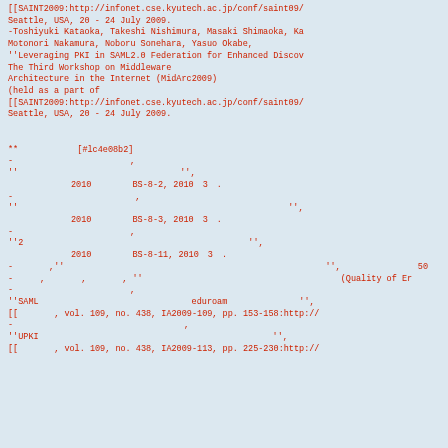[[SAINT2009:http://infonet.cse.kyutech.ac.jp/conf/saint09/
Seattle, USA, 20 - 24 July 2009.
-Toshiyuki Kataoka, Takeshi Nishimura, Masaki Shimaoka, Ka
Motonori Nakamura, Noboru Sonehara, Yasuo Okabe,
''Leveraging PKI in SAML2.0 Federation for Enhanced Discov
The Third Workshop on Middleware
Architecture in the Internet (MidArc2009)
(held as a part of
[[SAINT2009:http://infonet.cse.kyutech.ac.jp/conf/saint09/
Seattle, USA, 20 - 24 July 2009.


**　　　　　 [#lc4e08b2]
-　　　　　　　　　　　　　,
''　　　　　　　　　　　　　　　　　　'',
　　　　　　2010　　　　 BS-8-2, 2010　3　.
-　　　　　　 　　　　　　,
''　　　　　　　　　　　　　　　　　　　　　　　　　　　　'',
　　　　　　2010　　　　 BS-8-3, 2010　3　.
-　　　　　　　　　　　　　,
''2　　　　　　　　　　　　　　　　　　　　　　　　　　'',
　　　　　　2010　　　　 BS-8-11, 2010　3　.
-　　　　,''　　　　　　　　　　　　　　　　　　　　　　　　　　　　'', 　　　　　　　50　
-　　　,　　　　,　　　　, ''　　　　　　　　　　　　　　　　　　　　　　　(Quality of Er
-　　　　　　　　　　　　　,
''SAML　　　　　　　　　　　　　　　　eduroam　　　　　　　　'',
[[　　　　, vol. 109, no. 438, IA2009-109, pp. 153-158:http://
-　　　　　　　　　　　　　　　　　　　,
''UPKI　　　　　　　　　　　　　　　　　　　　　　　　　　　　'',
[[　　　　, vol. 109, no. 438, IA2009-113, pp. 225-230:http://